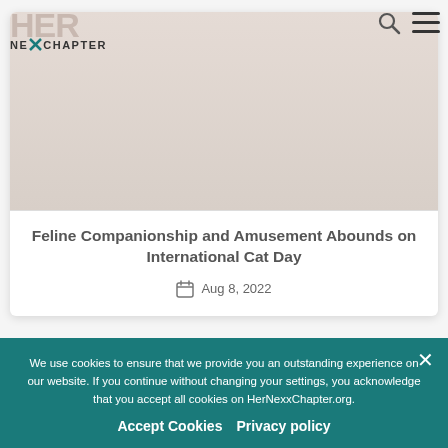HER Nexx Chapter - website navigation bar
Feline Companionship and Amusement Abounds on International Cat Day
Aug 8, 2022
We use cookies to ensure that we provide you an outstanding experience on our website. If you continue without changing your settings, you acknowledge that you accept all cookies on HerNexxChapter.org.
Accept Cookies  Privacy policy